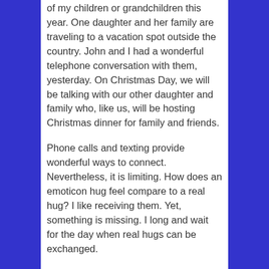of my children or grandchildren this year. One daughter and her family are traveling to a vacation spot outside the country. John and I had a wonderful telephone conversation with them, yesterday. On Christmas Day, we will be talking with our other daughter and family who, like us, will be hosting Christmas dinner for family and friends.
Phone calls and texting provide wonderful ways to connect. Nevertheless, it is limiting. How does an emoticon hug feel compare to a real hug? I like receiving them. Yet, something is missing. I long and wait for the day when real hugs can be exchanged.
Text and photos mean a lot to me. I like sending them and receiving them.  How do they compare to the words spoken by the flesh-and-blood